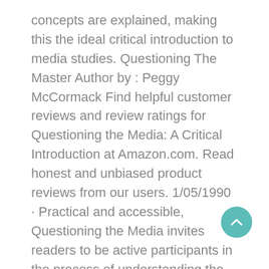concepts are explained, making this the ideal critical introduction to media studies. Questioning The Master Author by : Peggy McCormack Find helpful customer reviews and review ratings for Questioning the Media: A Critical Introduction at Amazon.com. Read honest and unbiased product reviews from our users. 1/05/1990 · Practical and accessible, Questioning the Media invites readers to be active participants in the process of understanding the importance of the media today. New chapters on media and identity, global media influences, comput The Second Edition of this successful text has been updated and extensively revised to provide students with an engaging introduction to media studies.
[Figure (other): Teal circular scroll-to-top button with upward chevron arrow]